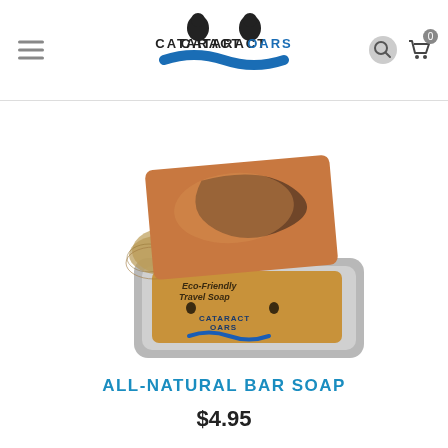CATARACT OARS
[Figure (photo): A bar of all-natural soap with blue swirl pattern resting on a loofah sponge on top of a silver tin container with a Cataract Oars Eco-Friendly Travel Soap label]
ALL-NATURAL BAR SOAP
$4.95